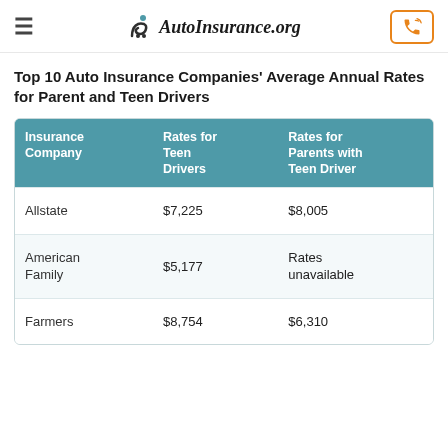AutoInsurance.org
Top 10 Auto Insurance Companies' Average Annual Rates for Parent and Teen Drivers
| Insurance Company | Rates for Teen Drivers | Rates for Parents with Teen Driver |
| --- | --- | --- |
| Allstate | $7,225 | $8,005 |
| American Family | $5,177 | Rates unavailable |
| Farmers | $8,754 | $6,310 |